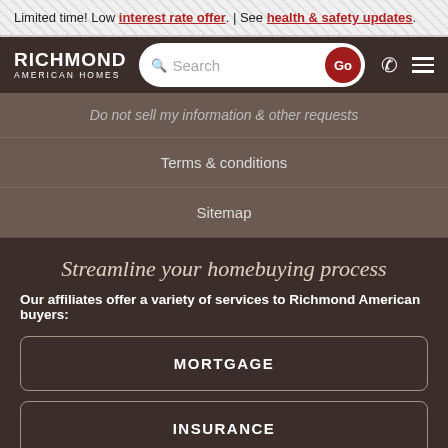Limited time! Low interest rate offer. | See health & safety updates.
[Figure (screenshot): Richmond American Homes navigation bar with logo, search bar with Go button, phone icon, and hamburger menu icon]
Do not sell my information & other requests
Terms & conditions
Sitemap
Streamline your homebuying process
Our affiliates offer a variety of services to Richmond American buyers:
MORTGAGE
INSURANCE